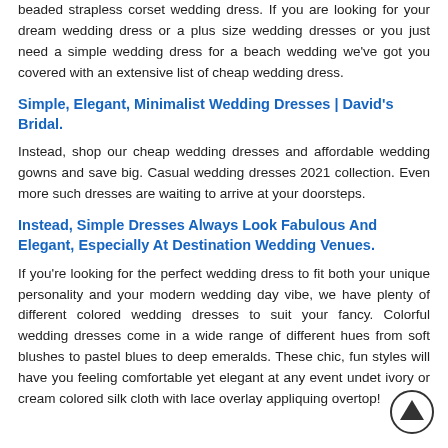beaded strapless corset wedding dress. If you are looking for your dream wedding dress or a plus size wedding dresses or you just need a simple wedding dress for a beach wedding we've got you covered with an extensive list of cheap wedding dress.
Simple, Elegant, Minimalist Wedding Dresses | David's Bridal.
Instead, shop our cheap wedding dresses and affordable wedding gowns and save big. Casual wedding dresses 2021 collection. Even more such dresses are waiting to arrive at your doorsteps.
Instead, Simple Dresses Always Look Fabulous And Elegant, Especially At Destination Wedding Venues.
If you're looking for the perfect wedding dress to fit both your unique personality and your modern wedding day vibe, we have plenty of different colored wedding dresses to suit your fancy. Colorful wedding dresses come in a wide range of different hues from soft blushes to pastel blues to deep emeralds. These chic, fun styles will have you feeling comfortable yet elegant at any event under yet ivory or cream colored silk cloth with lace overlay appliquéing overtop!